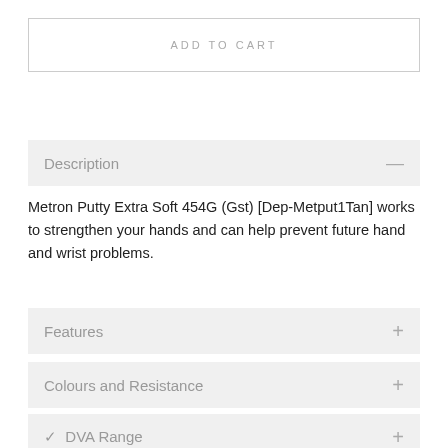ADD TO CART
Description —
Metron Putty Extra Soft 454G (Gst) [Dep-Metput1Tan] works to strengthen your hands and can help prevent future hand and wrist problems.
Features +
Colours and Resistance +
✓ DVA Range +